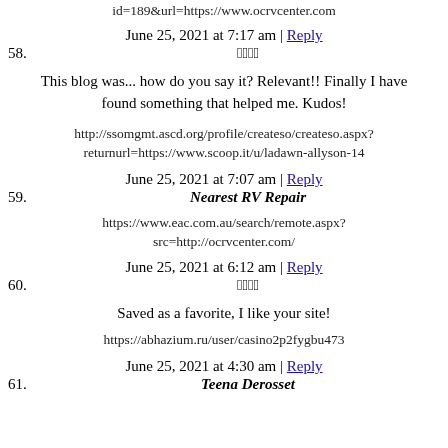id=189&url=https://www.ocrvcenter.com
June 25, 2021 at 7:17 am | Reply
58. 𝓝𝓸𝓷𝓴
This blog was... how do you say it? Relevant!! Finally I have found something that helped me. Kudos!
http://ssomgmt.ascd.org/profile/createso/createso.aspx?returnurl=https://www.scoop.it/u/ladawn-allyson-14
June 25, 2021 at 7:07 am | Reply
59. Nearest RV Repair
https://www.eac.com.au/search/remote.aspx?src=http://ocrvcenter.com/
June 25, 2021 at 6:12 am | Reply
60. 𝓝𝓸𝓷𝓴
Saved as a favorite, I like your site!
https://abhazium.ru/user/casino2p2fygbu473
June 25, 2021 at 4:30 am | Reply
61. Teena Derosset